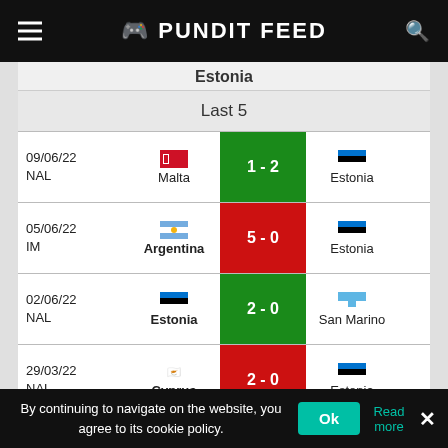Pundit Feed
Estonia
Last 5
| Date/Comp | Home | Score | Away |
| --- | --- | --- | --- |
| 09/06/22 NAL | Malta | 1 - 2 | Estonia |
| 05/06/22 IM | Argentina | 5 - 0 | Estonia |
| 02/06/22 NAL | Estonia | 2 - 0 | San Marino |
| 29/03/22 NAL | Cyprus | 2 - 0 | Estonia |
| 24/03/22 NAL | Estonia | 0 - 0 | Cyprus |
By continuing to navigate on the website, you agree to its cookie policy.
Ok
Read more